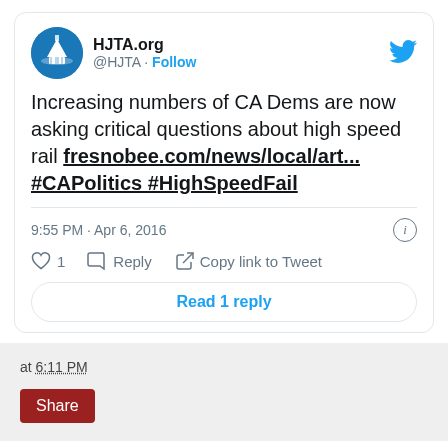[Figure (screenshot): Tweet from @HJTA (HJTA.org) with Twitter bird logo, avatar showing capitol dome with XIII, tweet text about CA Dems asking critical questions about high speed rail with link and hashtags, timestamp 9:55 PM Apr 6 2016, like/reply/copy link actions, and Read 1 reply button]
at 6:11 PM
Share
POLL: Donald Trump positioned for New York landslide after Wisconsin